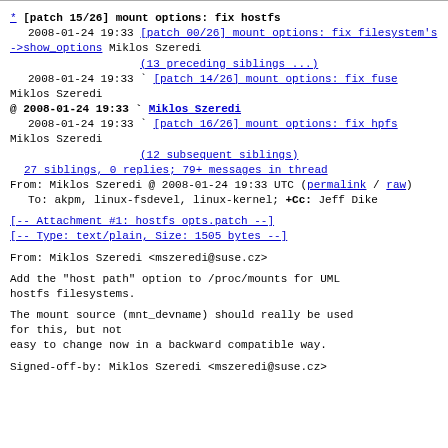* [patch 15/26] mount options: fix hostfs
  2008-01-24 19:33 [patch 00/26] mount options: fix filesystem's ->show_options Miklos Szeredi
                    (13 preceding siblings ...)
  2008-01-24 19:33 ` [patch 14/26] mount options: fix fuse Miklos Szeredi
@ 2008-01-24 19:33 ` Miklos Szeredi
  2008-01-24 19:33 ` [patch 16/26] mount options: fix hpfs Miklos Szeredi
                    (12 subsequent siblings)
  27 siblings, 0 replies; 79+ messages in thread
From: Miklos Szeredi @ 2008-01-24 19:33 UTC (permalink / raw)
To: akpm, linux-fsdevel, linux-kernel; +Cc: Jeff Dike
[-- Attachment #1: hostfs opts.patch --]
[-- Type: text/plain, Size: 1505 bytes --]
From: Miklos Szeredi <mszeredi@suse.cz>
Add the "host path" option to /proc/mounts for UML
hostfs filesystems.
The mount source (mnt_devname) should really be used
for this, but not
easy to change now in a backward compatible way.
Signed-off-by: Miklos Szeredi <mszeredi@suse.cz>